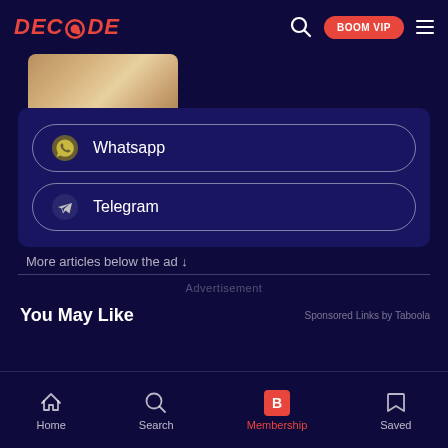DECODE   🔍  BOOM VIP  ≡
[Figure (photo): Partial image visible at top of content area, warm golden/beige tones]
Whatsapp
Telegram
More articles below the ad ↓
Advertisement
You May Like
Sponsored Links by Taboola
Home   Search   Membership   Saved